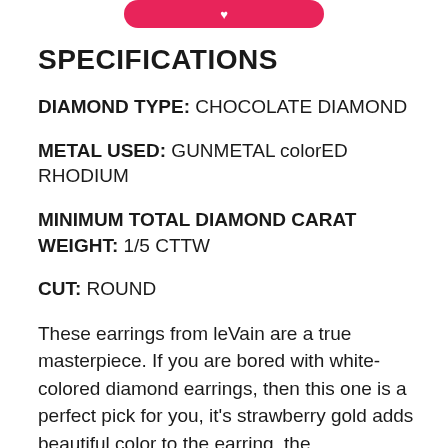[Figure (other): Pink/red rounded button at top center]
SPECIFICATIONS
DIAMOND TYPE: CHOCOLATE DIAMOND
METAL USED: GUNMETAL colorED RHODIUM
MINIMUM TOTAL DIAMOND CARAT WEIGHT: 1/5 CTTW
CUT: ROUND
These earrings from leVain are a true masterpiece. If you are bored with white-colored diamond earrings, then this one is a perfect pick for you, it's strawberry gold adds beautiful color to the earring, the